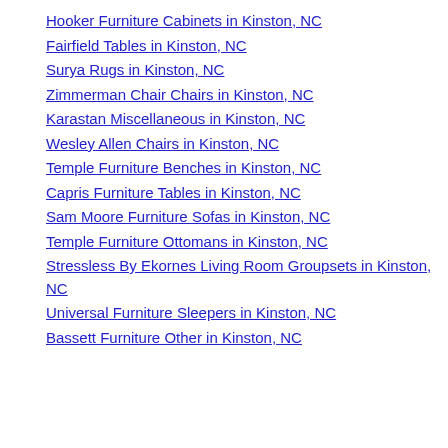Hooker Furniture Cabinets in Kinston, NC
Fairfield Tables in Kinston, NC
Surya Rugs in Kinston, NC
Zimmerman Chair Chairs in Kinston, NC
Karastan Miscellaneous in Kinston, NC
Wesley Allen Chairs in Kinston, NC
Temple Furniture Benches in Kinston, NC
Capris Furniture Tables in Kinston, NC
Sam Moore Furniture Sofas in Kinston, NC
Temple Furniture Ottomans in Kinston, NC
Stressless By Ekornes Living Room Groupsets in Kinston, NC
Universal Furniture Sleepers in Kinston, NC
Bassett Furniture Other in Kinston, NC